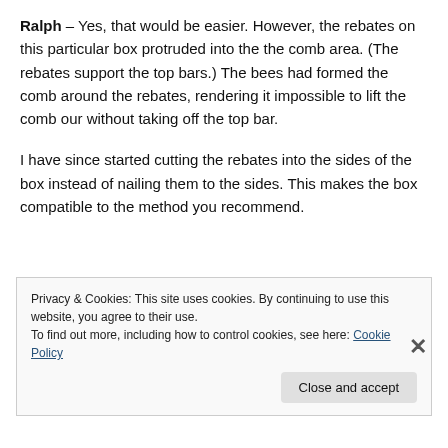Ralph – Yes, that would be easier. However, the rebates on this particular box protruded into the the comb area. (The rebates support the top bars.) The bees had formed the comb around the rebates, rendering it impossible to lift the comb our without taking off the top bar.
I have since started cutting the rebates into the sides of the box instead of nailing them to the sides. This makes the box compatible to the method you recommend.
Privacy & Cookies: This site uses cookies. By continuing to use this website, you agree to their use.
To find out more, including how to control cookies, see here: Cookie Policy
Close and accept